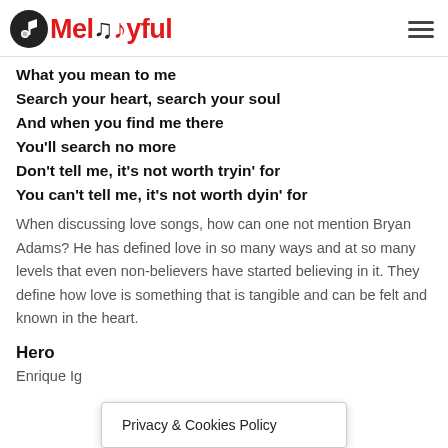Melodyful
What you mean to me
Search your heart, search your soul
And when you find me there
You'll search no more
Don't tell me, it's not worth tryin' for
You can't tell me, it's not worth dyin' for
When discussing love songs, how can one not mention Bryan Adams? He has defined love in so many ways and at so many levels that even non-believers have started believing in it. They define how love is something that is tangible and can be felt and known in the heart.
Hero
Enrique Ig
Privacy & Cookies Policy